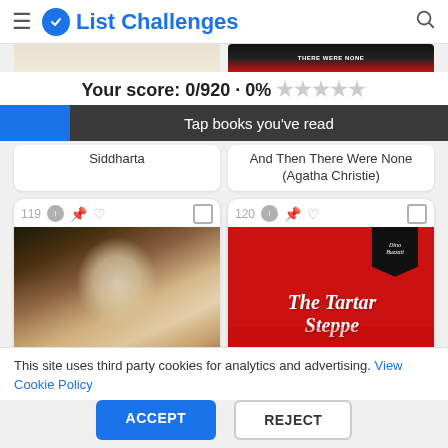List Challenges
Your score: 0/920 · 0% ★★★★★
Tap books you've read
Siddharta
And Then There Were None (Agatha Christie)
119
[Figure (photo): Book card 119: classical painting showing two women in white dress, dark background]
120
[Figure (photo): Book card 120: Red cover of 'The Tartar Steppe' by Dino Buzzati with black banner]
This site uses third party cookies for analytics and advertising. View Cookie Policy
ACCEPT
REJECT